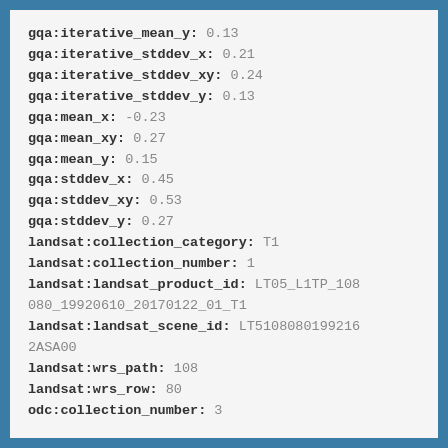gqa:iterative_mean_y: 0.13
gqa:iterative_stddev_x: 0.21
gqa:iterative_stddev_xy: 0.24
gqa:iterative_stddev_y: 0.13
gqa:mean_x: -0.23
gqa:mean_xy: 0.27
gqa:mean_y: 0.15
gqa:stddev_x: 0.45
gqa:stddev_xy: 0.53
gqa:stddev_y: 0.27
landsat:collection_category: T1
landsat:collection_number: 1
landsat:landsat_product_id: LT05_L1TP_108080_19920610_20170122_01_T1
landsat:landsat_scene_id: LT51080801992162ASA00
landsat:wrs_path: 108
landsat:wrs_row: 80
odc:collection_number: 3